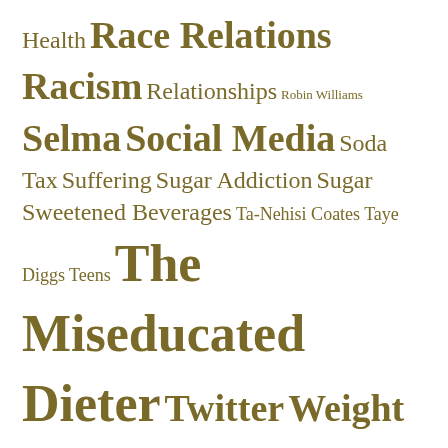Health Race Relations Racism Relationships Robin Williams Selma Social Media Soda Tax Suffering Sugar Addiction Sugar Sweetened Beverages Ta-Nehisi Coates Taye Diggs Teens The Miseducated Dieter Twitter Weight Loss Women Youth
Recent Posts
The Goody Bag Girl (Memoir Excerpt)
Breaking the Sugar Habit: A Daily Recommitment
Sweet Medicine Before Dawn
Breaking the Sugar Habit: A Daily Recommitment
Why (Do) I Bother
Archives
September 2018